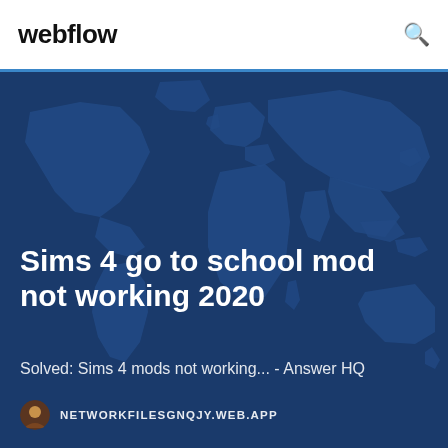webflow
[Figure (illustration): World map illustration with dark navy/teal color theme used as hero background]
Sims 4 go to school mod not working 2020
Solved: Sims 4 mods not working... - Answer HQ
NETWORKFILESGNQJY.WEB.APP